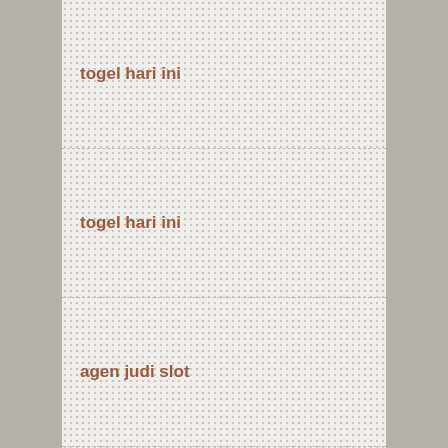togel hari ini
togel hari ini
agen judi slot
slot terlengkap
judi online